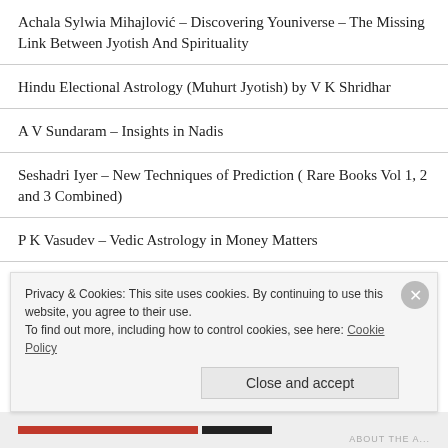Achala Sylwia Mihajlović – Discovering Youniverse – The Missing Link Between Jyotish And Spirituality
Hindu Electional Astrology (Muhurt Jyotish) by V K Shridhar
A V Sundaram – Insights in Nadis
Seshadri Iyer – New Techniques of Prediction ( Rare Books Vol 1, 2 and 3 Combined)
P K Vasudev – Vedic Astrology in Money Matters
Secrets of Astrology Krishnamurti ??????????????????:
Privacy & Cookies: This site uses cookies. By continuing to use this website, you agree to their use. To find out more, including how to control cookies, see here: Cookie Policy
Close and accept